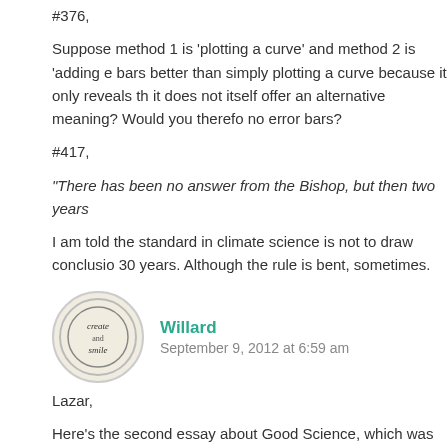#376,
Suppose method 1 is 'plotting a curve' and method 2 is 'adding e bars better than simply plotting a curve because it only reveals th it does not itself offer an alternative meaning? Would you therefo no error bars?
#417,
“There has been no answer from the Bishop, but then two years
I am told the standard in climate science is not to draw conclusio 30 years. Although the rule is bent, sometimes.
[Figure (illustration): Avatar icon for user Willard - circular logo with handwritten text 'create and smile']
Willard
September 9, 2012 at 6:59 am
Lazar,
Here's the second essay about Good Science, which was in resp
http://neverendingaudit.tumblr.com/post/16433124640
By chance Big Dog Steve's line jumps on the ice to save the wee